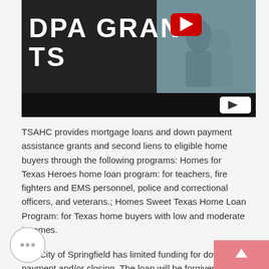[Figure (screenshot): Video thumbnail showing 'DPA GRANTS' text in white on dark background with YouTube play button overlay and a couple sitting in the background. Black bottom bar with white play button.]
TSAHC provides mortgage loans and down payment assistance grants and second liens to eligible home buyers through the following programs: Homes for Texas Heroes home loan program: for teachers, fire fighters and EMS personnel, police and correctional officers, and veterans.; Homes Sweet Texas Home Loan Program: for Texas home buyers with low and moderate incomes.
The City of Springfield has limited funding for down payment and/or closing. The loan will be forgiven over a 10-year period as described in the Buyer's Guide .